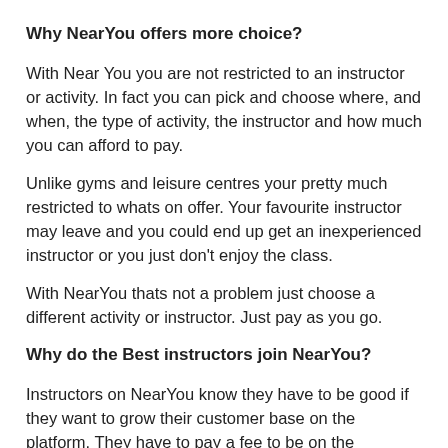Why NearYou offers more choice?
With Near You you are not restricted to an instructor or activity. In fact you can pick and choose where, and when, the type of activity, the instructor and how much you can afford to pay.
Unlike gyms and leisure centres your pretty much restricted to whats on offer. Your favourite instructor may leave and you could end up get an inexperienced instructor or you just don't enjoy the class.
With NearYou thats not a problem just choose a different activity or instructor. Just pay as you go.
Why do the Best instructors join NearYou?
Instructors on NearYou know they have to be good if they want to grow their customer base on the platform. They have to pay a fee to be on the platform, be fully accredited,